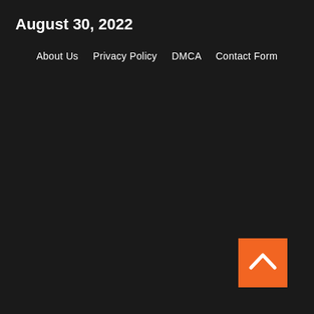August 30, 2022
About Us   Privacy Policy   DMCA   Contact Form
[Figure (other): Orange square button with a white upward-pointing chevron arrow, used as a scroll-to-top button, positioned in the bottom-right corner of the page.]